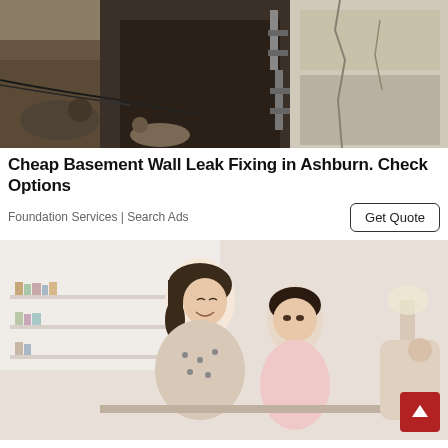[Figure (photo): Construction/foundation excavation scene showing cracked concrete wall, soil, and construction equipment]
Cheap Basement Wall Leak Fixing in Ashburn. Check Options
Foundation Services | Search Ads
[Figure (photo): Woman and child sitting together, smiling, working on something at a table indoors]